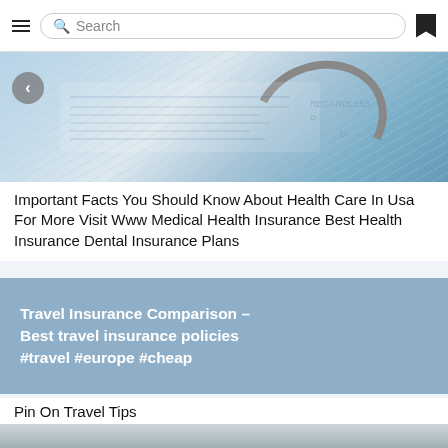Search
[Figure (photo): Medical insurance form with stethoscope on top, blue and white tones]
Important Facts You Should Know About Health Care In Usa For More Visit Www Medical Health Insurance Best Health Insurance Dental Insurance Plans
[Figure (infographic): Blue-grey card with white bold text: Travel Insurance Comparison – Best travel insurance policies #travel #europe #cheap]
Pin On Travel Tips
[Figure (photo): Bottom portion of another article image, interior room scene]